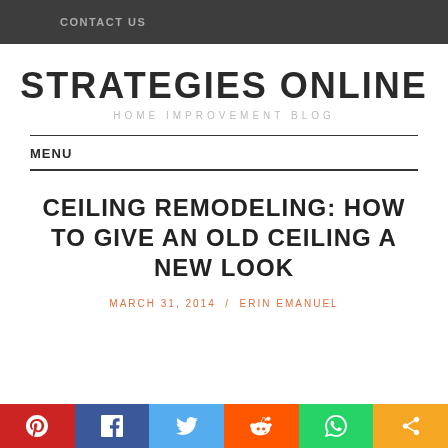CONTACT US
STRATEGIES ONLINE
HOME IMPROVEMENT BLOG
MENU
CEILING REMODELING: HOW TO GIVE AN OLD CEILING A NEW LOOK
MARCH 31, 2014 / ERIN EMANUEL